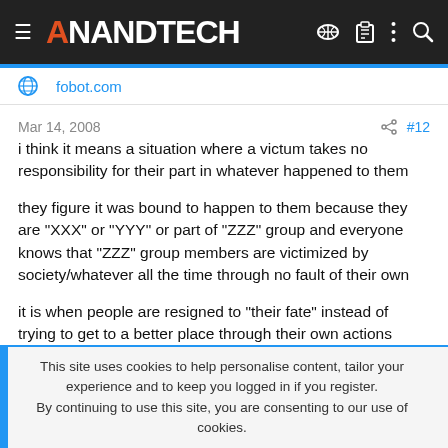AnandTech
fobot.com
Mar 14, 2008   #12
i think it means a situation where a victum takes no responsibility for their part in whatever happened to them
they figure it was bound to happen to them because they are "XXX" or "YYY" or part of "ZZZ" group and everyone knows that "ZZZ" group members are victimized by society/whatever all the time through no fault of their own
it is when people are resigned to "their fate" instead of trying to get to a better place through their own actions
This site uses cookies to help personalise content, tailor your experience and to keep you logged in if you register.
By continuing to use this site, you are consenting to our use of cookies.